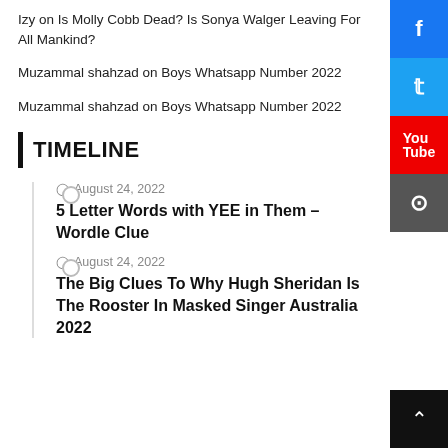Izy on Is Molly Cobb Dead? Is Sonya Walger Leaving For All Mankind?
Muzammal shahzad on Boys Whatsapp Number 2022
Muzammal shahzad on Boys Whatsapp Number 2022
TIMELINE
August 24, 2022
5 Letter Words with YEE in Them – Wordle Clue
August 24, 2022
The Big Clues To Why Hugh Sheridan Is The Rooster In Masked Singer Australia 2022